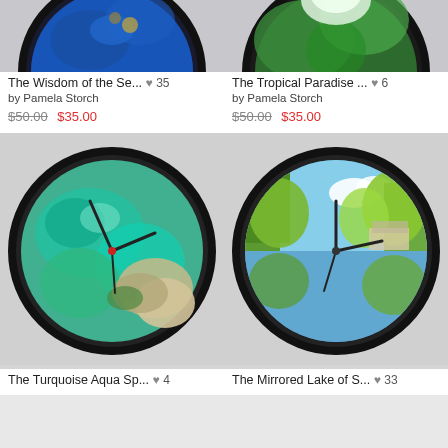[Figure (photo): Wall clock with blue ocean/sea turtle design, partially cropped at top]
The Wisdom of the Se... ♥ 35
by Pamela Storch
$50.00  $35.00
[Figure (photo): Wall clock with tropical green foliage design, partially cropped at top]
The Tropical Paradise ... ♥ 6
by Pamela Storch
$50.00  $35.00
[Figure (photo): Wall clock with turquoise aqua spring/underwater scene, green and sandy tones]
The Turquoise Aqua Sp... ♥ 4
[Figure (photo): Wall clock with mirrored lake scene, green trees and blue sky reflection]
The Mirrored Lake of S... ♥ 33